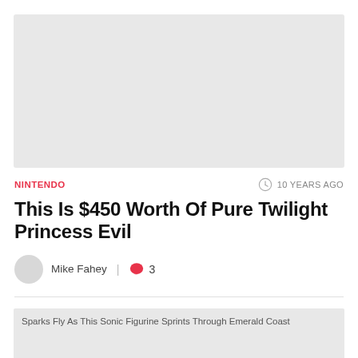[Figure (photo): Large gray placeholder image at the top of the article card]
NINTENDO
10 YEARS AGO
This Is $450 Worth Of Pure Twilight Princess Evil
Mike Fahey  |  3
[Figure (photo): Thumbnail image for next article: Sparks Fly As This Sonic Figurine Sprints Through Emerald Coast]